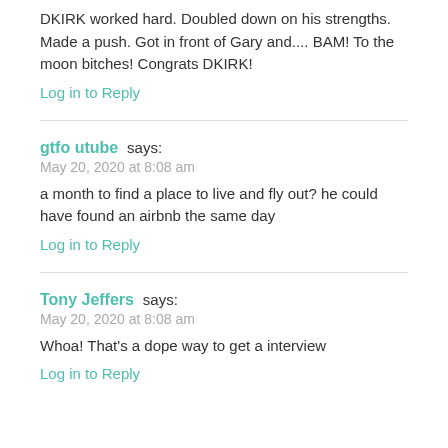DKIRK worked hard. Doubled down on his strengths. Made a push. Got in front of Gary and.... BAM! To the moon bitches! Congrats DKIRK!
Log in to Reply
gtfo utube says:
May 20, 2020 at 8:08 am
a month to find a place to live and fly out? he could have found an airbnb the same day
Log in to Reply
Tony Jeffers says:
May 20, 2020 at 8:08 am
Whoa! That's a dope way to get a interview
Log in to Reply